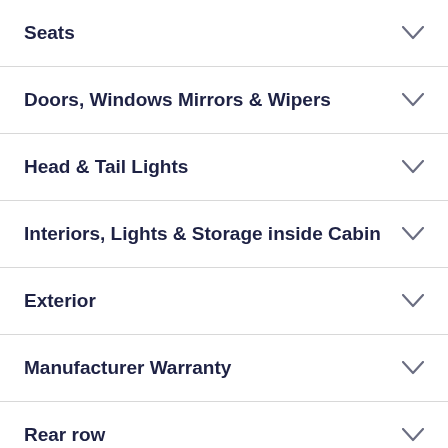Seats
Doors, Windows Mirrors & Wipers
Head & Tail Lights
Interiors, Lights & Storage inside Cabin
Exterior
Manufacturer Warranty
Rear row